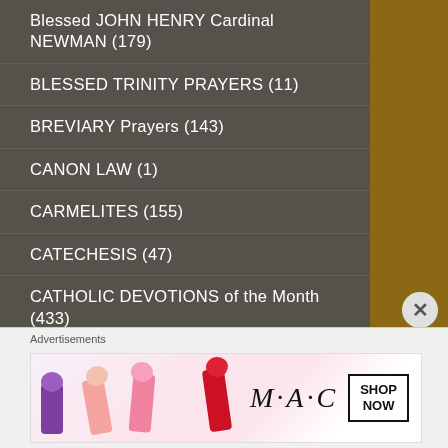Blessed JOHN HENRY Cardinal NEWMAN (179)
BLESSED TRINITY PRAYERS (11)
BREVIARY Prayers (143)
CANON LAW (1)
CARMELITES (155)
CATECHESIS (47)
CATHOLIC DEVOTIONS of the Month (433)
Catholic NEWS (30)
CATHOLIC Quotes (94)
CATHOLIC TIME (18)
CATHOLIC–PRAYERS OF THE CHURCH (450)
[Figure (photo): MAC cosmetics advertisement showing colourful lipsticks with MAC logo and SHOP NOW call-to-action box]
Advertisements